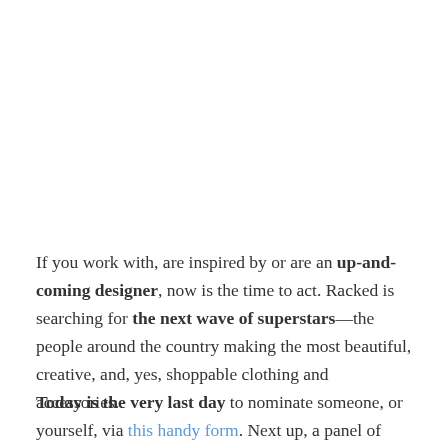If you work with, are inspired by or are an up-and-coming designer, now is the time to act. Racked is searching for the next wave of superstars—the people around the country making the most beautiful, creative, and, yes, shoppable clothing and accessories.
Today is the very last day to nominate someone, or yourself, via this handy form. Next up, a panel of industry